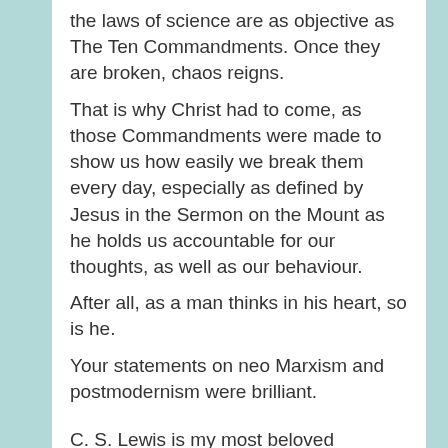the laws of science are as objective as The Ten Commandments. Once they are broken, chaos reigns.
That is why Christ had to come, as those Commandments were made to show us how easily we break them every day, especially as defined by Jesus in the Sermon on the Mount as he holds us accountable for our thoughts, as well as our behaviour.
After all, as a man thinks in his heart, so is he.
Your statements on neo Marxism and postmodernism were brilliant.
C. S. Lewis is my most beloved philosopher. Just wrapped up a brilliant course on “The Abolition of Man”, and “Mere Christianity”. However, I will leave you with what I am told